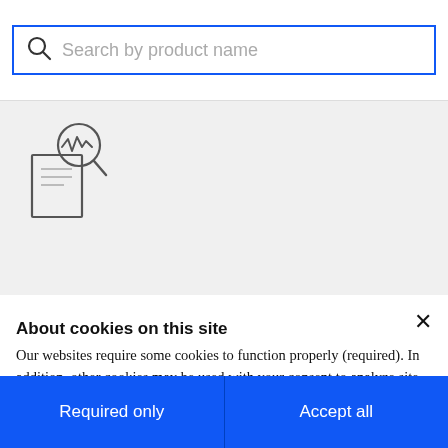[Figure (screenshot): Search input box with blue border and magnifying glass icon, placeholder text 'Search by product name']
[Figure (illustration): Gray empty state area with a small hand-drawn style icon of a document with a magnifying glass showing a waveform graph]
About cookies on this site
Our websites require some cookies to function properly (required). In addition, other cookies may be used with your consent to analyze site usage, improve the user experience and for advertising.
For more information, please review your Cookie preferences options and IBM's privacy statement.
Required only
Accept all